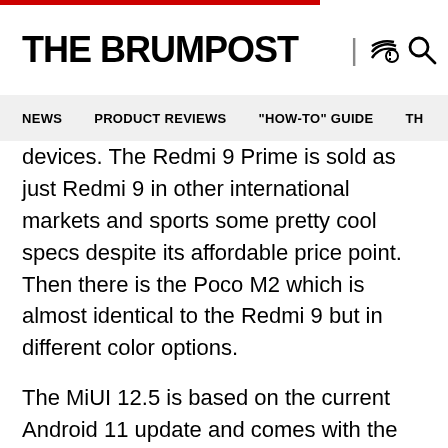THE BRUMPOST
NEWS   PRODUCT REVIEWS   "HOW-TO" GUIDE   TH
devices. The Redmi 9 Prime is sold as just Redmi 9 in other international markets and sports some pretty cool specs despite its affordable price point. Then there is the Poco M2 which is almost identical to the Redmi 9 but in different color options.
The MiUI 12.5 is based on the current Android 11 update and comes with the build number V12.5.1.0.RJRINXM while the same build number applies to its Redmi 9 Prime counterpart in India. Both the builds also